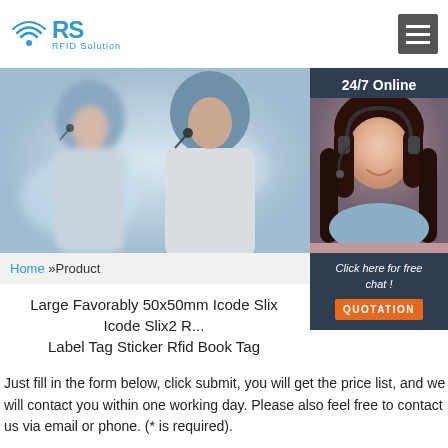[Figure (logo): RS RFID Solution logo with wifi symbol]
[Figure (photo): Banner with customer service representatives wearing headsets, and a 24/7 Online support agent on the right side]
Home »Product
Large Favorably 50x50mm Icode Slix Icode Slix2 R... Label Tag Sticker Rfid Book Tag
Click here for free chat !
QUOTATION
Just fill in the form below, click submit, you will get the price list, and we will contact you within one working day. Please also feel free to contact us via email or phone. (* is required).
Name: